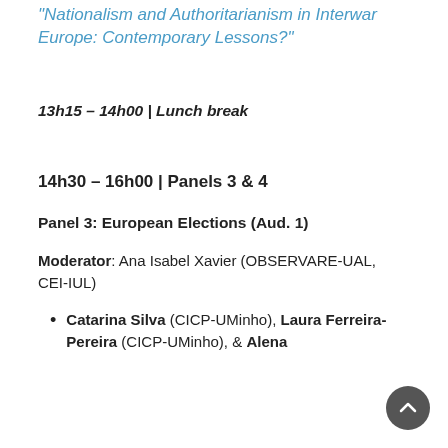"Nationalism and Authoritarianism in Interwar Europe: Contemporary Lessons?"
13h15 – 14h00 | Lunch break
14h30 – 16h00 | Panels 3 & 4
Panel 3: European Elections (Aud. 1)
Moderator: Ana Isabel Xavier (OBSERVARE-UAL, CEI-IUL)
Catarina Silva (CICP-UMinho), Laura Ferreira-Pereira (CICP-UMinho), & Alena